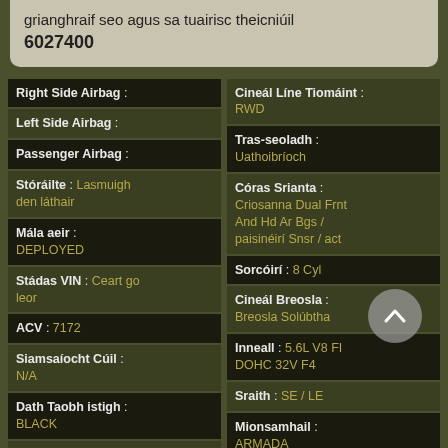grianghraif seo agus sa tuairisc theicniúil 6027400
| Right Side Airbag : |  |
| Left Side Airbag : |  |
| Passenger Airbag : |  |
| Stóráilte : | Lasmuigh den láthair |
| Mála aeir : | DEPLOYED |
| Stádas VIN : | Ceart go leor |
| ACV : | 7172 |
| Siamsaíocht Cúil : | N/A |
| Dath Taobh istigh : | BLACK |
| Mála Aeir Tiománaí : |  |
| Cineál Líne Tiomáint : | RWD |
| Tras-seoladh : | Uathoibríoch |
| Córas Srianta : | Criosanna Dual Frnt And Hd Ar Bgs / paisinéirí Snsr / act |
| Sorcóirí : | 8 Cyl |
| Cineál Breosla : | Breosla Solúbtha |
| Inneall : | 5.6L V8 FI DOHC 32V F4 |
| Sraith : | SE / LE |
| Mionsamhail : | ARMADA |